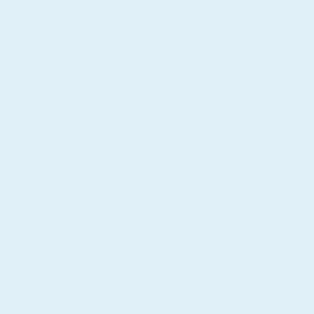[Figure (illustration): Partial avatar of a user (top, cropped) showing dark hair character]
Did Walky and Amber finally break that something my mind made up?
[Figure (illustration): Avatar of alongcameasspider: anime-style girl with dark hair and glasses]
alongcameasspider
June 18, 2022 at 1:06 am
It's been implied that t
Still unclear about Mik next chapter
[Figure (illustration): Avatar of Devin: cartoon man with blue cap and beard]
Devin
June 18, 2022 at 1:56 am | #
Amazing how Jennifer didn't hate P mouth in service of potentially help
[Figure (illustration): Avatar of Bryy: cartoon blonde woman with glasses]
Bryy
June 18, 2022 at 2:10 am | #
Billie. Holy fuck.
Your rage would be a lot more sym that you want everyone to act the w